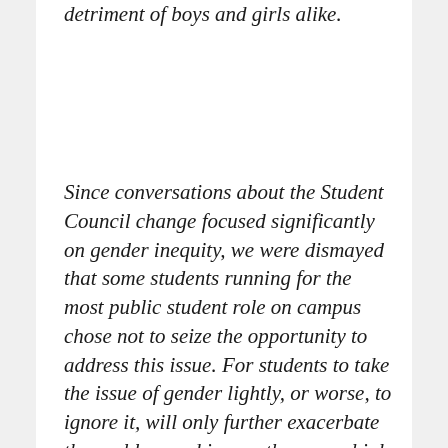detriment of boys and girls alike.
Since conversations about the Student Council change focused significantly on gender inequity, we were dismayed that some students running for the most public student role on campus chose not to seize the opportunity to address this issue. For students to take the issue of gender lightly, or worse, to ignore it, will only further exacerbate the problem and ignore the proverbial elephant in our collective room. Candidates should embrace a paradigm shift toward more equal representation in the school's Student Council